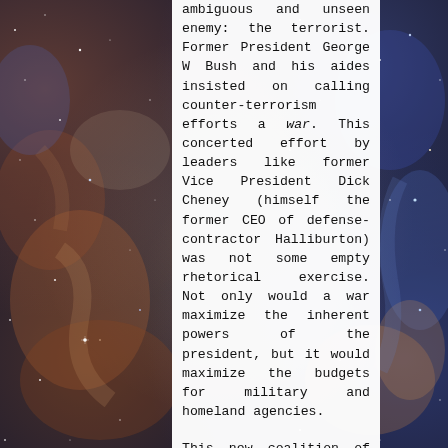[Figure (photo): Space/nebula background image showing stars, gas clouds in deep reds, blues, and oranges — resembling a Hubble telescope image of a stellar nursery or nebula.]
ambiguous and unseen enemy: the terrorist. Former President George W Bush and his aides insisted on calling counter-terrorism efforts a war. This concerted effort by leaders like former Vice President Dick Cheney (himself the former CEO of defense-contractor Halliburton) was not some empty rhetorical exercise. Not only would a war maximize the inherent powers of the president, but it would maximize the budgets for military and homeland agencies.
This new coalition of companies, agencies, and lobbyists dwarfs the system known by Eisenhower when he warned Americans to 'guard against the acquisition of unwarranted influence … by the military-industrial complex'. Ironically, it has had some of its best days under President Barack Obama who has radically expanded drone